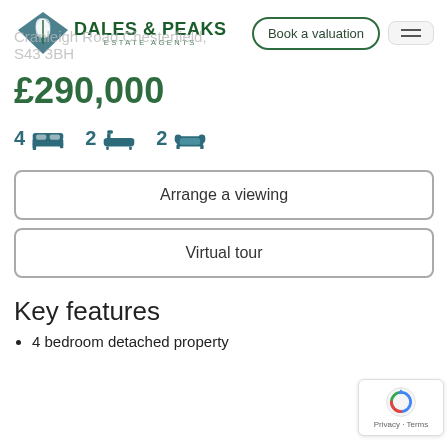[Figure (logo): Dales & Peaks Estate Agents logo with diamond/leaf icon]
Cranleigh Road, Chesterfield, S43 3BH
Book a valuation
£290,000
4 bedrooms, 2 bathrooms, 2 reception rooms
Arrange a viewing
Virtual tour
Key features
4 bedroom detached property